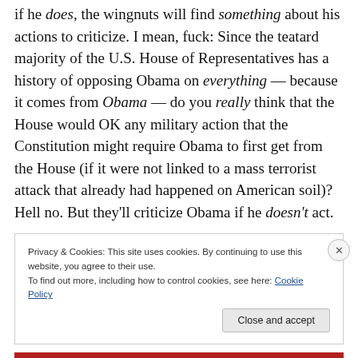if he does, the wingnuts will find something about his actions to criticize. I mean, fuck: Since the teatard majority of the U.S. House of Representatives has a history of opposing Obama on everything — because it comes from Obama — do you really think that the House would OK any military action that the Constitution might require Obama to first get from the House (if it were not linked to a mass terrorist attack that already had happened on American soil)? Hell no. But they'll criticize Obama if he doesn't act.
Privacy & Cookies: This site uses cookies. By continuing to use this website, you agree to their use.
To find out more, including how to control cookies, see here: Cookie Policy